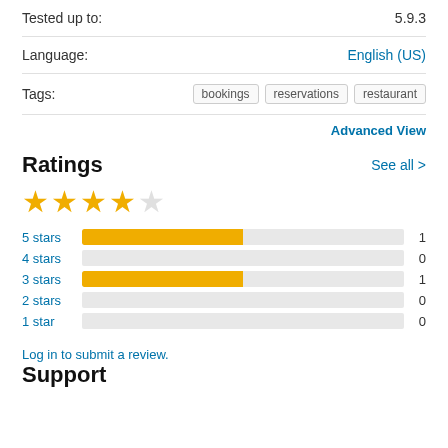Tested up to: 5.9.3
Language: English (US)
Tags: bookings, reservations, restaurant
Advanced View
Ratings
[Figure (bar-chart): Ratings breakdown]
Log in to submit a review.
Support